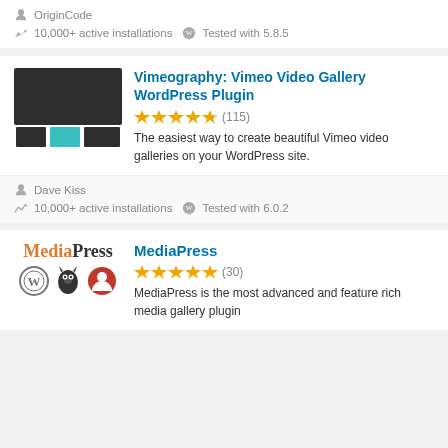OriginCode
10,000+ active installations  Tested with 5.8.5
[Figure (screenshot): Vimeo Video Gallery WordPress Plugin thumbnail showing dark rectangle with three boxes below]
Vimeography: Vimeo Video Gallery WordPress Plugin
4.5 stars (115)
The easiest way to create beautiful Vimeo video galleries on your WordPress site.
Dave Kiss
10,000+ active installations  Tested with 6.0.2
[Figure (logo): MediaPress logo with WordPress, wolverine, and user icons]
MediaPress
5 stars (30)
MediaPress is the most advanced and feature rich media gallery plugin